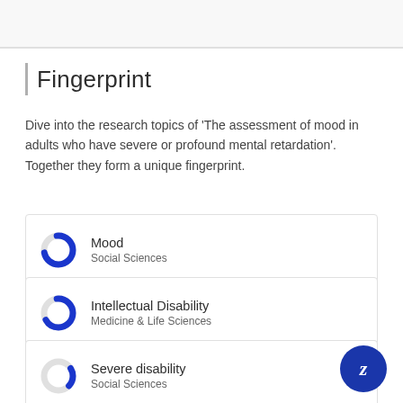Fingerprint
Dive into the research topics of 'The assessment of mood in adults who have severe or profound mental retardation'. Together they form a unique fingerprint.
[Figure (infographic): Donut chart icon for Mood, Social Sciences — large blue arc]
Mood
Social Sciences
[Figure (infographic): Donut chart icon for Intellectual Disability, Medicine & Life Sciences — large blue arc]
Intellectual Disability
Medicine & Life Sciences
[Figure (infographic): Donut chart icon for Depression, Medicine & Life Sciences — smaller blue arc]
Depression
Medicine & Life Sciences
[Figure (infographic): Donut chart icon for Severe disability, Social Sciences — small blue arc]
Severe disability
Social Sciences